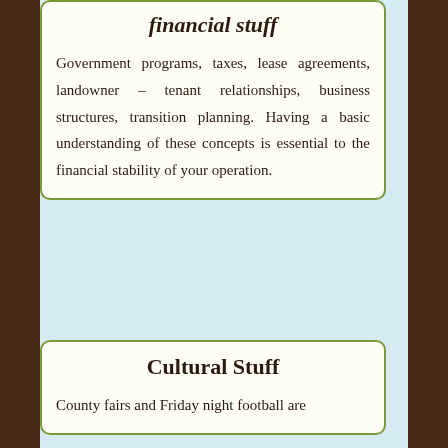financial stuff
Government programs, taxes, lease agreements, landowner – tenant relationships, business structures, transition planning. Having a basic understanding of these concepts is essential to the financial stability of your operation.
Cultural Stuff
County fairs and Friday night football are